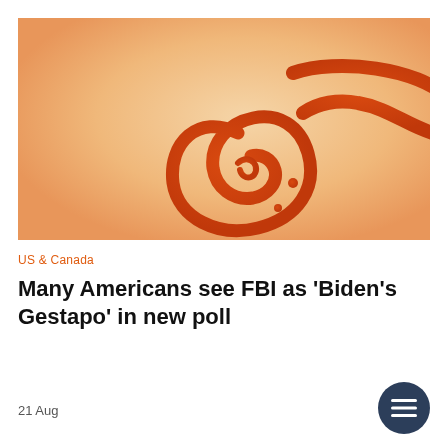[Figure (logo): Al Jazeera logo — Arabic calligraphic mark in orange-red gradient on a warm peach/beige gradient background]
US & Canada
Many Americans see FBI as 'Biden's Gestapo' in new poll
21 Aug